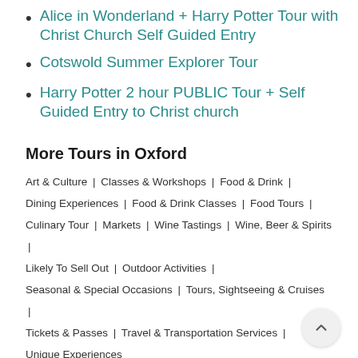Alice in Wonderland + Harry Potter Tour with Christ Church Self Guided Entry
Cotswold Summer Explorer Tour
Harry Potter 2 hour PUBLIC Tour + Self Guided Entry to Christ church
More Tours in Oxford
Art & Culture | Classes & Workshops | Food & Drink | Dining Experiences | Food & Drink Classes | Food Tours | Culinary Tour | Markets | Wine Tastings | Wine, Beer & Spirits | Likely To Sell Out | Outdoor Activities | Seasonal & Special Occasions | Tours, Sightseeing & Cruises | Tickets & Passes | Travel & Transportation Services | Unique Experiences